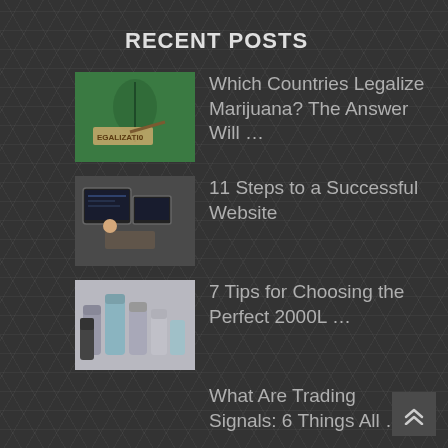RECENT POSTS
Which Countries Legalize Marijuana? The Answer Will …
11 Steps to a Successful Website
7 Tips for Choosing the Perfect 2000L …
What Are Trading Signals: 6 Things All …
6 Items to Make the Perfect